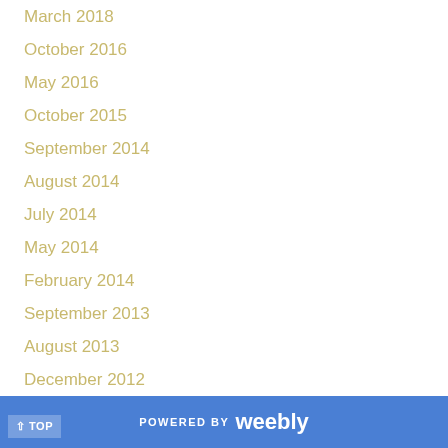March 2018
October 2016
May 2016
October 2015
September 2014
August 2014
July 2014
May 2014
February 2014
September 2013
August 2013
December 2012
November 2012
September 2012
June 2012
May 2012
January 2012
POWERED BY weebly